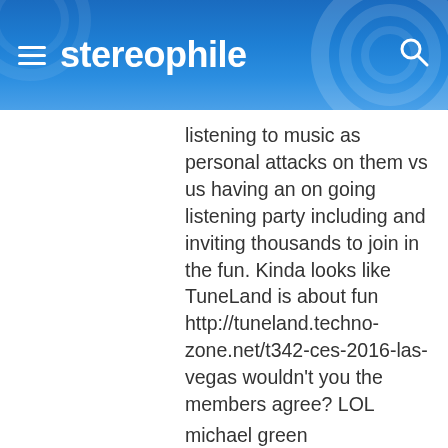stereophile
listening to music as personal attacks on them vs us having an on going listening party including and inviting thousands to join in the fun. Kinda looks like TuneLand is about fun http://tuneland.techno-zone.net/t342-ces-2016-las-vegas wouldn't you the members agree? LOL
michael green
MGA/RoomTune